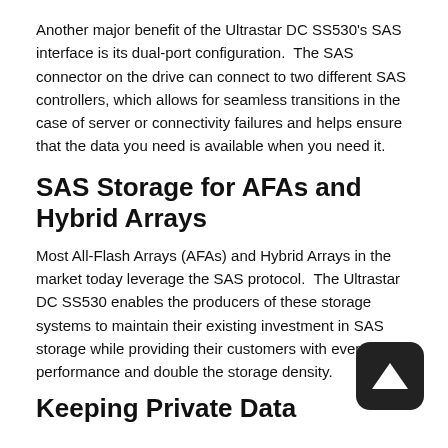Another major benefit of the Ultrastar DC SS530's SAS interface is its dual-port configuration.  The SAS connector on the drive can connect to two different SAS controllers, which allows for seamless transitions in the case of server or connectivity failures and helps ensure that the data you need is available when you need it.
SAS Storage for AFAs and Hybrid Arrays
Most All-Flash Arrays (AFAs) and Hybrid Arrays in the market today leverage the SAS protocol.  The Ultrastar DC SS530 enables the producers of these storage systems to maintain their existing investment in SAS storage while providing their customers with even higher performance and double the storage density.
Keeping Private Data